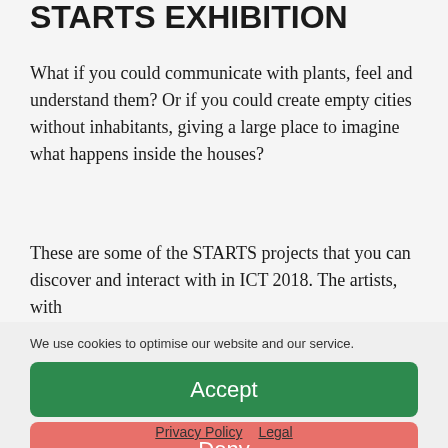STARTS EXHIBITION
What if you could communicate with plants, feel and understand them? Or if you could create empty cities without inhabitants, giving a large place to imagine what happens inside the houses?
These are some of the STARTS projects that you can discover and interact with in ICT 2018. The artists, with
We use cookies to optimise our website and our service.
Accept
Deny
Privacy Policy   Legal